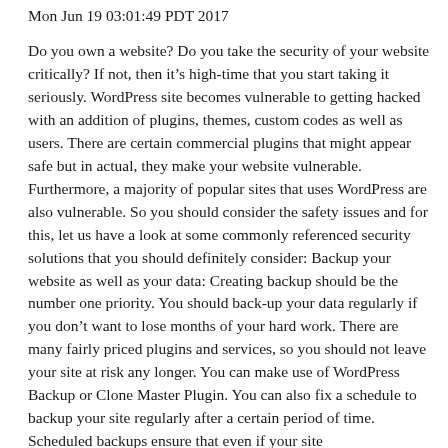Mon Jun 19 03:01:49 PDT 2017
Do you own a website? Do you take the security of your website critically? If not, then it's high-time that you start taking it seriously. WordPress site becomes vulnerable to getting hacked with an addition of plugins, themes, custom codes as well as users. There are certain commercial plugins that might appear safe but in actual, they make your website vulnerable. Furthermore, a majority of popular sites that uses WordPress are also vulnerable. So you should consider the safety issues and for this, let us have a look at some commonly referenced security solutions that you should definitely consider: Backup your website as well as your data: Creating backup should be the number one priority. You should back-up your data regularly if you don't want to lose months of your hard work. There are many fairly priced plugins and services, so you should not leave your site at risk any longer. You can make use of WordPress Backup or Clone Master Plugin. You can also fix a schedule to backup your site regularly after a certain period of time. Scheduled backups ensure that even if your site